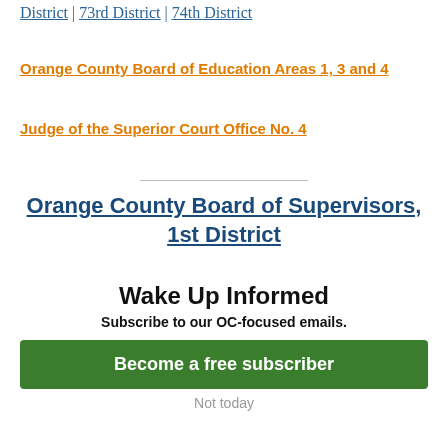District | 73rd District | 74th District
Orange County Board of Education Areas 1, 3 and 4
Judge of the Superior Court Office No. 4
Orange County Board of Supervisors, 1st District
In one of the hottest local election battles of 2020, three Democrats are facing off
Wake Up Informed
Subscribe to our OC-focused emails.
Become a free subscriber
Not today